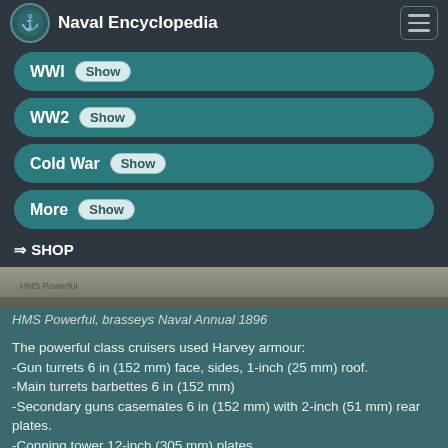Naval Encyclopedia
WWI Show
WW2 Show
Cold War Show
More Show
⇒ SHOP
[Figure (photo): Historical photo of HMS Powerful, grayscale ship image]
HMS Powerful, brasseys Naval Annual 1896
The powerful class cruisers used Harvey armour:
-Gun turrets 6 in (152 mm) face, sides, 1-inch (25 mm) roof.
-Main turrets barbettes 6 in (152 mm)
-Secondary guns casemates 6 in (152 mm) with 2-inch (51 mm) rear plates.
-Conning tower 12-inch (305 mm) plates
-Curved armoured deck 3 feet 6 inches (1.07 m) above the